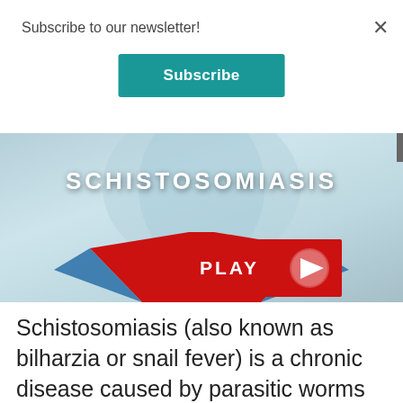Subscribe to our newsletter!
Subscribe
[Figure (screenshot): Video thumbnail for Schistosomiasis showing the word SCHISTOSOMIASIS in large white bold letters over a light blue/grey background, with a red banner below showing PLAY and a triangular play button icon.]
Schistosomiasis (also known as bilharzia or snail fever) is a chronic disease caused by parasitic worms that live in freshwater snails. Schistosomiasis is second only to